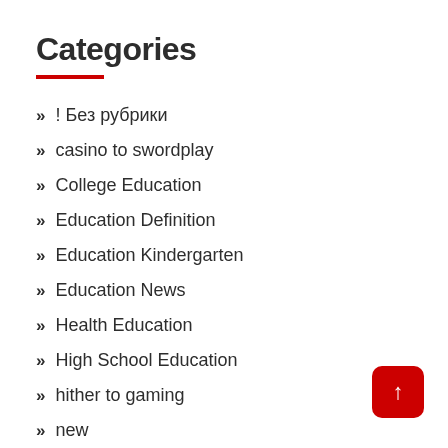Categories
! Без рубрики
casino to swordplay
College Education
Education Definition
Education Kindergarten
Education News
Health Education
High School Education
hither to gaming
new